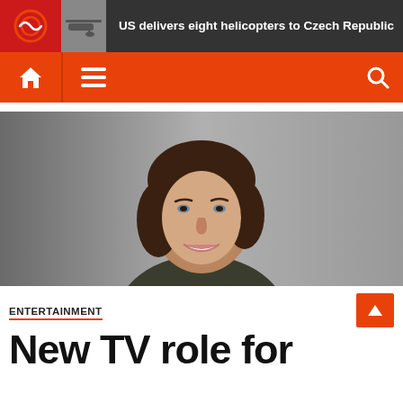US delivers eight helicopters to Czech Republic
[Figure (photo): Portrait photo of a woman with short dark hair, smiling, wearing a dark olive turtleneck sweater, against a grey background]
ENTERTAINMENT
New TV role for